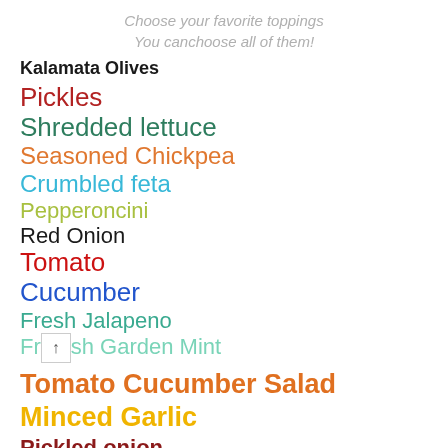Choose your favorite toppings
You canchoose all of them!
Kalamata Olives
Pickles
Shredded lettuce
Seasoned Chickpea
Crumbled feta
Pepperoncini
Red Onion
Tomato
Cucumber
Fresh Jalapeno
Fresh Garden Mint
Tomato Cucumber Salad
Minced Garlic
Pickled onion